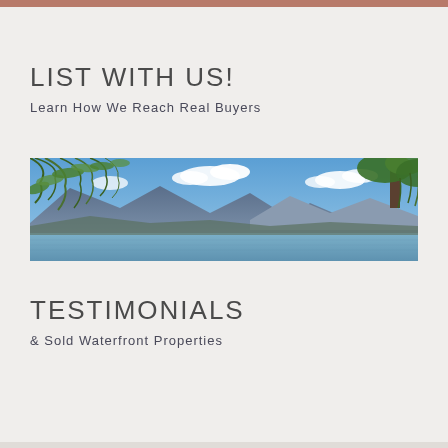LIST WITH US!
Learn How We Reach Real Buyers
[Figure (photo): Landscape photo of a mountain lake scene with weeping willow branches hanging from the top, blue sky with white clouds, and mountains in the background reflecting in calm water]
TESTIMONIALS
& Sold Waterfront Properties